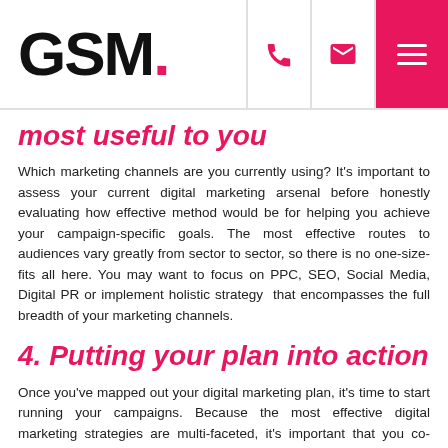GSM.
most useful to you
Which marketing channels are you currently using? It's important to assess your current digital marketing arsenal before honestly evaluating how effective method would be for helping you achieve your campaign-specific goals. The most effective routes to audiences vary greatly from sector to sector, so there is no one-size-fits all here. You may want to focus on PPC, SEO, Social Media, Digital PR or implement holistic strategy  that encompasses the full breadth of your marketing channels.
4. Putting your plan into action
Once you've mapped out your digital marketing plan, it's time to start running your campaigns. Because the most effective digital marketing strategies are multi-faceted, it's important that you co-ordinate your campaigns across multiple channels. Before you start running your campaigns, it's wise to plot out every action necessary in a document shared amongst your team members